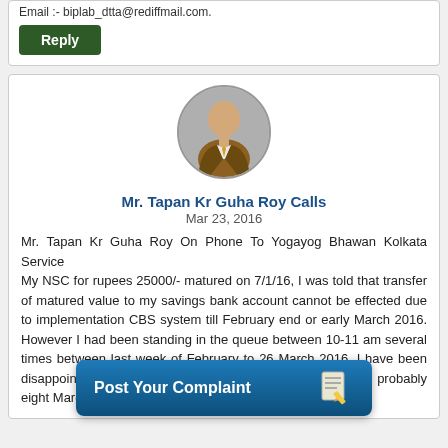Email :- biplab_dtta@rediffmail.com.
Reply
[Figure (illustration): Generic male avatar icon with brown suit and tie, circular crop with gray background]
Mr. Tapan Kr Guha Roy Calls
Mar 23, 2016
Mr. Tapan Kr Guha Roy On Phone To Yogayog Bhawan Kolkata Service
My NSC for rupees 25000/- matured on 7/1/16, I was told that transfer of matured value to my savings bank account cannot be effected due to implementation CBS system till February end or early March 2016. However I had been standing in the queue between 10-11 am several times between last week of February to 26 March 2016. I have been disappointed either due to link failure or refusal to proc... probably eight March and to-day the...
Post Your Complaint